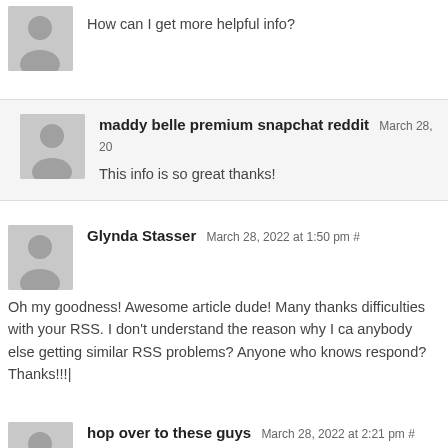How can I get more helpful info?
maddy belle premium snapchat reddit March 28, 20
This info is so great thanks!
Glynda Stasser March 28, 2022 at 1:50 pm #
Oh my goodness! Awesome article dude! Many thanks, difficulties with your RSS. I don't understand the reason why I ca anybody else getting similar RSS problems? Anyone who knows respond? Thanks!!!|
hop over to these guys March 28, 2022 at 2:21 pm #